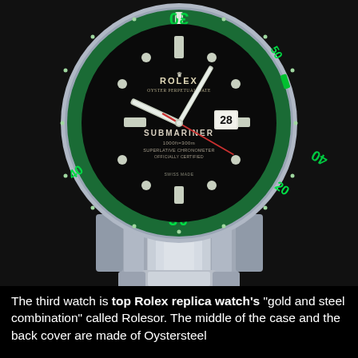[Figure (photo): Rolex Submariner watch with black dial and green ceramic bezel, silver Oystersteel bracelet, date display showing 28, SUBMARINER text on dial, on black background]
The third watch is top Rolex replica watch's "gold and steel combination" called Rolesor. The middle of the case and the back cover are made of Oystersteel